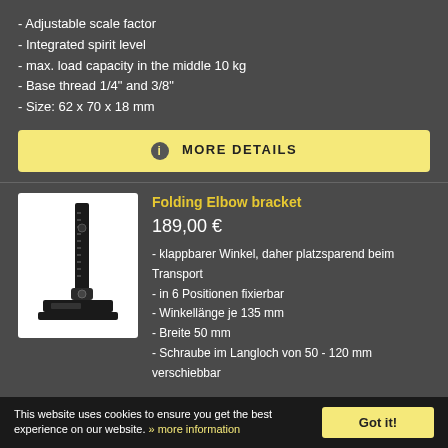- Adjustable scale factor
- Integrated spirit level
- max. load capacity in the middle 10 kg
- Base thread 1/4" and 3/8"
- Size: 62 x 70 x 18 mm
MORE DETAILS
[Figure (photo): Folding elbow bracket product photo on white background]
Folding Elbow bracket
189,00 €
- klappbarer Winkel, daher platzsparend beim Transport
- in 6 Positionen fixierbar
- Winkellänge je 135 mm
- Breite 50 mm
- Schraube im Langloch von 50 - 120 mm verschiebbar
This website uses cookies to ensure you get the best experience on our website. » more information
Got it!